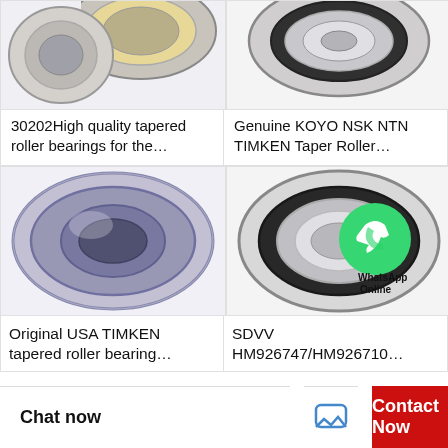[Figure (photo): Top-left: partial view of a tapered roller bearing, metallic silver and gold tones]
30202High quality tapered roller bearings for the…
[Figure (photo): Top-right: partial view of a tapered roller bearing, metallic silver with black rubber seal]
Genuine KOYO NSK NTN TIMKEN Taper Roller…
[Figure (photo): Bottom-left: TIMKEN tapered roller bearing, large silver/purple metallic cylindrical bearing]
Original USA TIMKEN tapered roller bearing…
[Figure (photo): Bottom-right: bearing with WhatsApp Online watermark overlay (green WhatsApp logo)]
SDVV HM926747/HM926710…
Chat now   Contact Now